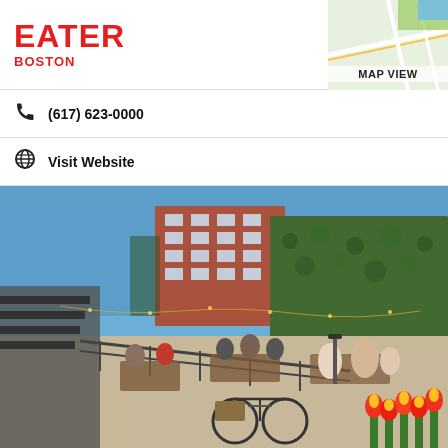EATER BOSTON
(617) 623-0000
Visit Website
[Figure (photo): Outdoor patio of a Boston restaurant on a sunny day. People dining at outdoor tables surrounded by ivy-covered walls. A multi-story red brick building is visible in the background. A bicycle is parked near a railing, and red-orange tulips bloom in the foreground right corner.]